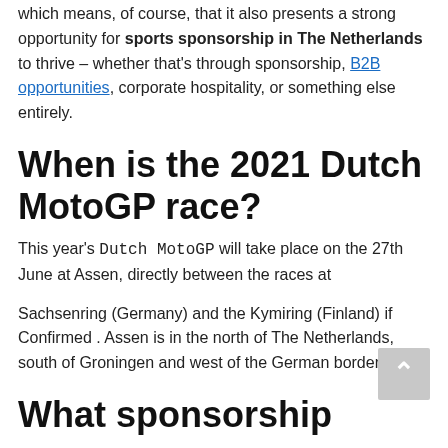which means, of course, that it also presents a strong opportunity for sports sponsorship in The Netherlands to thrive – whether that's through sponsorship, B2B opportunities, corporate hospitality, or something else entirely.
When is the 2021 Dutch MotoGP race?
This year's Dutch MotoGP will take place on the 27th June at Assen, directly between the races at
Sachsenring (Germany) and the Kymiring (Finland) if Confirmed . Assen is in the north of The Netherlands, south of Groningen and west of the German border.
What sponsorship